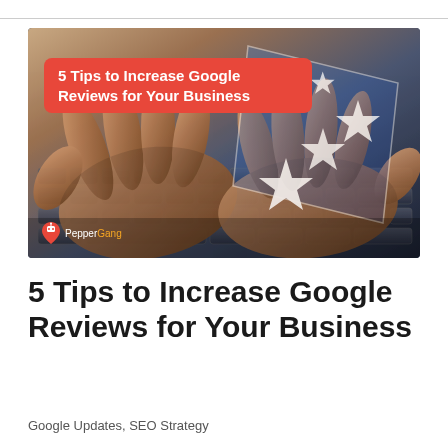[Figure (photo): Photo of hands typing on a laptop keyboard with a digital star rating graphic overlay (5 stars in a diamond-shaped frame) on the right side, and the article title overlaid in a red rounded pill shape in the upper left. PepperGang logo visible at bottom left of image.]
5 Tips to Increase Google Reviews for Your Business
Google Updates, SEO Strategy